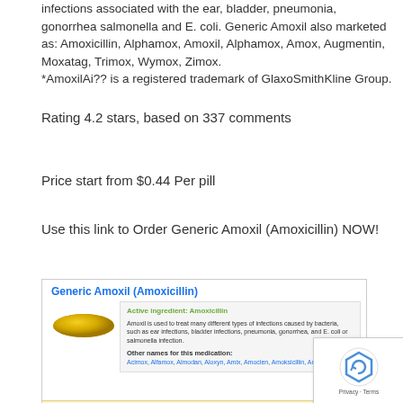infections associated with the ear, bladder, pneumonia, gonorrhea salmonella and E. coli. Generic Amoxil also marketed as: Amoxicillin, Alphamox, Amoxil, Alphamox, Amox, Augmentin, Moxatag, Trimox, Wymox, Zimox.
*AmoxilAi?? is a registered trademark of GlaxoSmithKline Group.
Rating 4.2 stars, based on 337 comments
Price start from $0.44 Per pill
Use this link to Order Generic Amoxil (Amoxicillin) NOW!
[Figure (screenshot): Screenshot of a pharmacy website showing Generic Amoxil (Amoxicillin) product listing with a yellow capsule pill image, active ingredient information box, and analogs bar with Brand Amoxil, Augmentin, Trimox links. Also shows a reCAPTCHA widget and a red SHOP NOW button.]